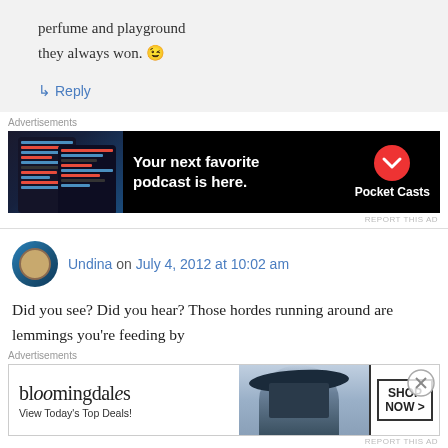perfume and playground they always won. 😉
↳ Reply
Advertisements
[Figure (screenshot): Pocket Casts advertisement banner showing dark-themed podcast app on phone screens with text 'Your next favorite podcast is here.' and Pocket Casts logo]
REPORT THIS AD
Undina on July 4, 2012 at 10:02 am
Did you see? Did you hear? Those hordes running around are lemmings you're feeding by your review 😘 (and that bottle…)
Advertisements
[Figure (screenshot): Bloomingdale's advertisement banner with logo, 'View Today's Top Deals!' text, model image with wide-brim hat, and 'SHOP NOW >' button]